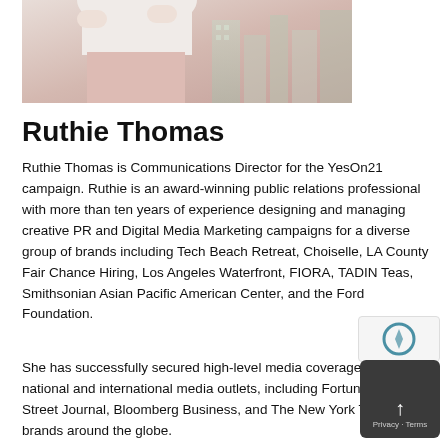[Figure (photo): Partial photo of Ruthie Thomas, showing torso in white top and pink skirt with city buildings in background]
Ruthie Thomas
Ruthie Thomas is Communications Director for the YesOn21 campaign. Ruthie is an award-winning public relations professional with more than ten years of experience designing and managing creative PR and Digital Media Marketing campaigns for a diverse group of brands including Tech Beach Retreat, Choiselle, LA County Fair Chance Hiring, Los Angeles Waterfront, FIORA, TADIN Teas, Smithsonian Asian Pacific American Center, and the Ford Foundation.
She has successfully secured high-level media coverage in top-tier national and international media outlets, including Fortune, The Wall Street Journal, Bloomberg Business, and The New York Times, for brands around the globe.